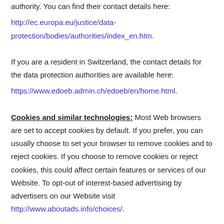authority. You can find their contact details here:
http://ec.europa.eu/justice/data-protection/bodies/authorities/index_en.htm.
If you are a resident in Switzerland, the contact details for the data protection authorities are available here:
https://www.edoeb.admin.ch/edoeb/en/home.html.
Cookies and similar technologies: Most Web browsers are set to accept cookies by default. If you prefer, you can usually choose to set your browser to remove cookies and to reject cookies. If you choose to remove cookies or reject cookies, this could affect certain features or services of our Website. To opt-out of interest-based advertising by advertisers on our Website visit
http://www.aboutads.info/choices/.